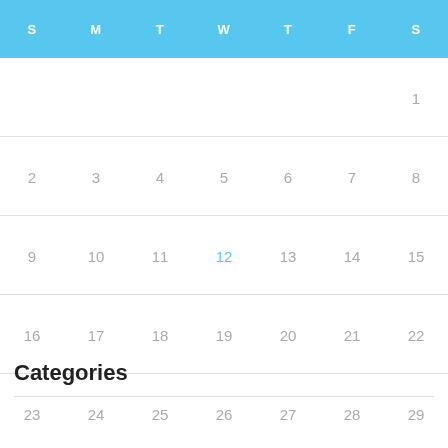| S | M | T | W | T | F | S |
| --- | --- | --- | --- | --- | --- | --- |
|  |  |  |  |  |  | 1 |
| 2 | 3 | 4 | 5 | 6 | 7 | 8 |
| 9 | 10 | 11 | 12 | 13 | 14 | 15 |
| 16 | 17 | 18 | 19 | 20 | 21 | 22 |
| 23 | 24 | 25 | 26 | 27 | 28 | 29 |
| 30 | 31 |  |  |  |  |  |
Mar »
Categories